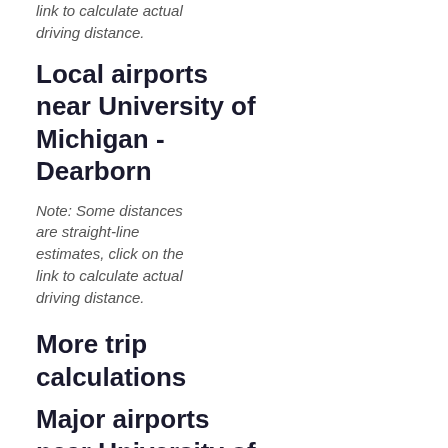link to calculate actual driving distance.
Local airports near University of Michigan - Dearborn
Note: Some distances are straight-line estimates, click on the link to calculate actual driving distance.
More trip calculations
Major airports near University of Michigan - Dearborn
The nearest major